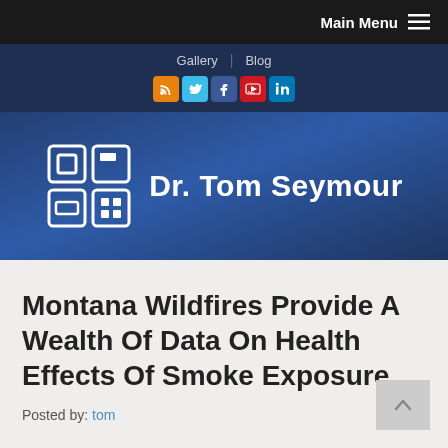Main Menu
[Figure (screenshot): Website navigation header for Dr. Tom Seymour with Gallery and Blog links, social media icons (RSS, Twitter, Facebook, YouTube, LinkedIn), and a logo banner with geometric icon and site name.]
Montana Wildfires Provide A Wealth Of Data On Health Effects Of Smoke Exposure
Posted by: tom